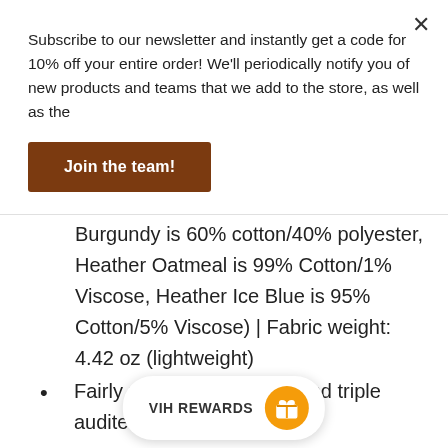Subscribe to our newsletter and instantly get a code for 10% off your entire order! We'll periodically notify you of new products and teams that we add to the store, as well as the
Join the team!
cotton/20% polyester. Heather Burgundy is 60% cotton/40% polyester, Heather Oatmeal is 99% Cotton/1% Viscose, Heather Ice Blue is 95% Cotton/5% Viscose) | Fabric weight: 4.42 oz (lightweight)
Fairly produced, certified and triple audited
Optimized for vibrant print results
Double-stitched ribbed collar and hems
Imported; processed a
VIH REWARDS